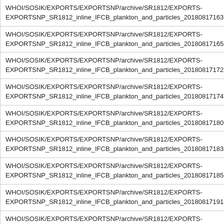| WHOI/SOSIK/EXPORTS/EXPORTSNP/archive/SR1812/EXPORTS-EXPORTSNP_SR1812_inline_IFCB_plankton_and_particles_20180817163626_R2.sb |
| WHOI/SOSIK/EXPORTS/EXPORTSNP/archive/SR1812/EXPORTS-EXPORTSNP_SR1812_inline_IFCB_plankton_and_particles_20180817165935_R2.sb |
| WHOI/SOSIK/EXPORTS/EXPORTSNP/archive/SR1812/EXPORTS-EXPORTSNP_SR1812_inline_IFCB_plankton_and_particles_20180817172243_R2.sb |
| WHOI/SOSIK/EXPORTS/EXPORTSNP/archive/SR1812/EXPORTS-EXPORTSNP_SR1812_inline_IFCB_plankton_and_particles_20180817174552_R2.sb |
| WHOI/SOSIK/EXPORTS/EXPORTSNP/archive/SR1812/EXPORTS-EXPORTSNP_SR1812_inline_IFCB_plankton_and_particles_20180817180901_R2.sb |
| WHOI/SOSIK/EXPORTS/EXPORTSNP/archive/SR1812/EXPORTS-EXPORTSNP_SR1812_inline_IFCB_plankton_and_particles_20180817183209_R2.sb |
| WHOI/SOSIK/EXPORTS/EXPORTSNP/archive/SR1812/EXPORTS-EXPORTSNP_SR1812_inline_IFCB_plankton_and_particles_20180817185518_R2.sb |
| WHOI/SOSIK/EXPORTS/EXPORTSNP/archive/SR1812/EXPORTS-EXPORTSNP_SR1812_inline_IFCB_plankton_and_particles_20180817191827_R2.sb |
| WHOI/SOSIK/EXPORTS/EXPORTSNP/archive/SR1812/EXPORTS-EXPORTSNP_SR1812_inline_IFCB_plankton_and_particles_20180817194136_R2.sb |
| WHOI/SOSIK/EXPORTS/EXPORTSNP/archive/SR1812/EXPORTS-EXPORTSNP_SR1812_inline_IFCB_plankton_and_particles_20180817200444_R2.sb |
| WHOI/SOSIK/EXPORTS/EXPORTSNP/archive/SR1812/EXPORTS-EXPORTSNP_SR1812_inline_IFCB_plankton_and_particles_20180817202753_R2.sb |
| WHOI/SOSIK/EXPORTS/EXPORTSNP/archive/SR1812/EXPORTS-... |